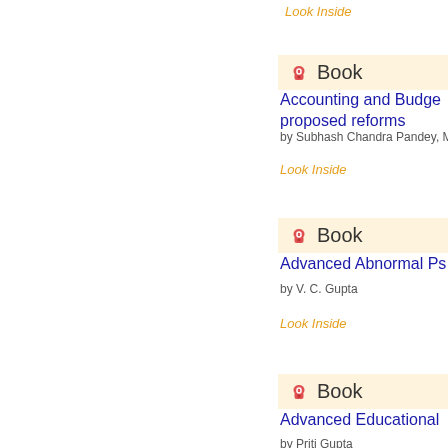Look Inside
Book
Accounting and Budget... proposed reforms
by Subhash Chandra Pandey, M...
Look Inside
Book
Advanced Abnormal Ps...
by V. C. Gupta
Look Inside
Book
Advanced Educational...
by Priti Gupta